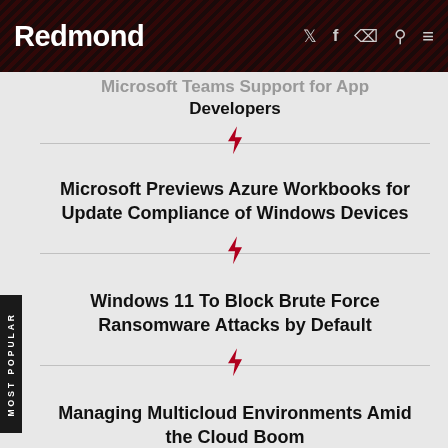Redmond
Microsoft Teams Support for App Developers
Microsoft Previews Azure Workbooks for Update Compliance of Windows Devices
Windows 11 To Block Brute Force Ransomware Attacks by Default
Managing Multicloud Environments Amid the Cloud Boom